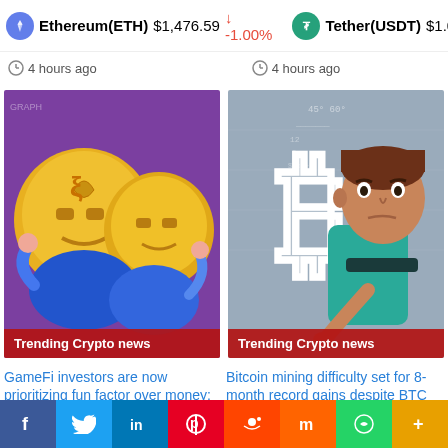Ethereum(ETH) $1,476.59 ↓ -1.00%   Tether(USDT) $1.00
4 hours ago   4 hours ago
[Figure (illustration): Cartoon illustration of GameFi coin characters with 'Trending Crypto news' badge]
[Figure (illustration): Cartoon illustration of animated man with Bitcoin symbol and 'Trending Crypto news' badge]
GameFi investors are now prioritizing fun factor over money: Survey
Bitcoin mining difficulty set for 8-month record gains despite BTC price dip
f  in  p  reddit  m  WhatsApp  +